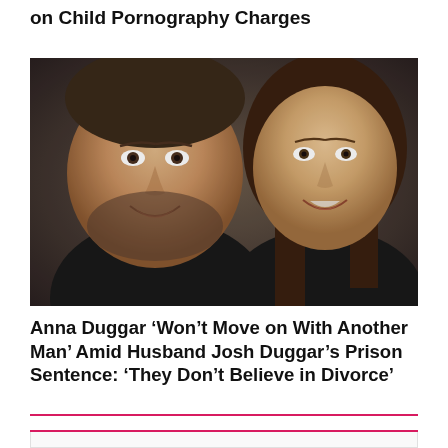on Child Pornography Charges
[Figure (photo): Selfie photo of a man and woman smiling at the camera, man on left with beard and dark jacket, woman on right with long brown hair]
Anna Duggar ‘Won’t Move on With Another Man’ Amid Husband Josh Duggar’s Prison Sentence: ‘They Don’t Believe in Divorce’